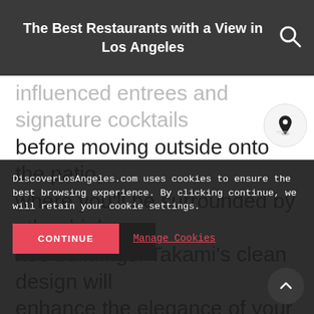The Best Restaurants with a View in Los Angeles
influenced entrees and signature cocktails before moving outside onto the patio, where you'll be surrounded by other high rise buildings. Takami's clean design will enhance the elegance of your dining experience as you get lost in the flavors of every bite.
DiscoverLosAngeles.com uses cookies to ensure the best browsing experience. By clicking continue, we will retain your cookie settings.